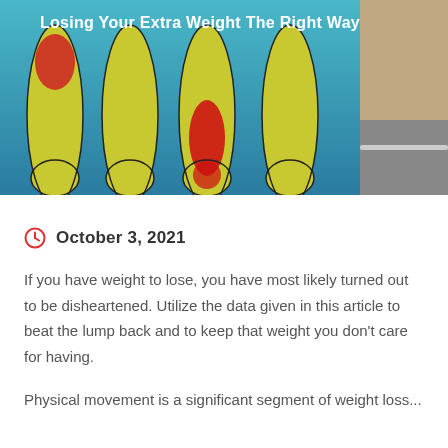[Figure (illustration): Hero image showing illustrated human legs in yellow/green with red highlighted pain areas on a teal/blue background on the left side, and a partial photo of a person's feet on a scale on the right side. White text overlay reads 'Losing Your Extra Weight The Right Way'.]
Losing Your Extra Weight The Right Way
October 3, 2021
If you have weight to lose, you have most likely turned out to be disheartened. Utilize the data given in this article to beat the lump back and to keep that weight you don't care for having.
Physical movement is a significant segment of weight loss...